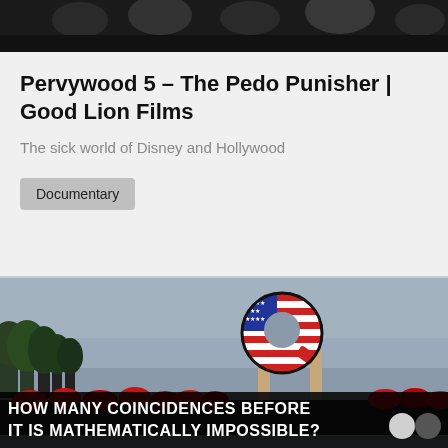[Figure (photo): Top partial image showing people, dark/black toned, cropped off at top]
Pervywood 5 – The Pedo Punisher | Good Lion Films
The sick world of Disney and Hollywood
Documentary
[Figure (photo): Person holding a large letter Q sign decorated with American flag pattern (stars and stripes), crowd wearing red hats in background, trees on left, overcast sky. Text overlay at bottom reads: HOW MANY COINCIDENCES BEFORE IT IS MATHEMATICALLY IMPOSSIBLE?]